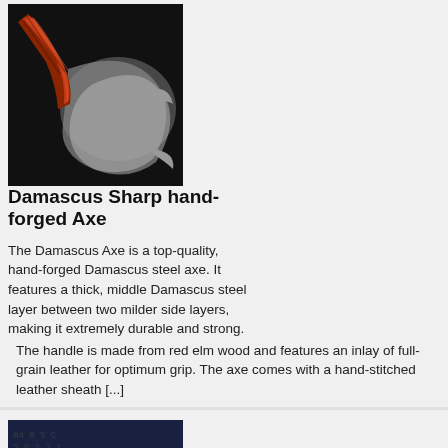[Figure (photo): Damascus hand-forged axe with red wooden handle on dark background]
Damascus Sharp hand-forged Axe
The Damascus Axe is a top-quality, hand-forged Damascus steel axe. It features a thick, middle Damascus steel layer between two milder side layers, making it extremely durable and strong. The handle is made from red elm wood and features an inlay of full-grain leather for optimum grip. The axe comes with a hand-stitched leather sheath [...]
[Figure (photo): Colorful rainbow smoke meditation scene with person sitting in lotus position]
Taking Care of Your Mental Health While Betting Online
Online betting is one of the fastest-growing business sectors in the US. Daily, it attracts millions of gamblers who seek to have fun or make profits in